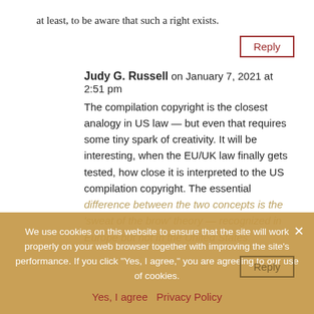at least, to be aware that such a right exists.
Reply
Judy G. Russell on January 7, 2021 at 2:51 pm
The compilation copyright is the closest analogy in US law — but even that requires some tiny spark of creativity. It will be interesting, when the EU/UK law finally gets tested, how close it is interpreted to the US compilation copyright. The essential difference between the two concepts is the 'sweat of the brow' theory — recognized in Europe but not in the United States.
Reply
We use cookies on this website to ensure that the site will work properly on your web browser together with improving the site's performance. If you click "Yes, I agree," you are agreeing to our use of cookies.
Yes, I agree   Privacy Policy